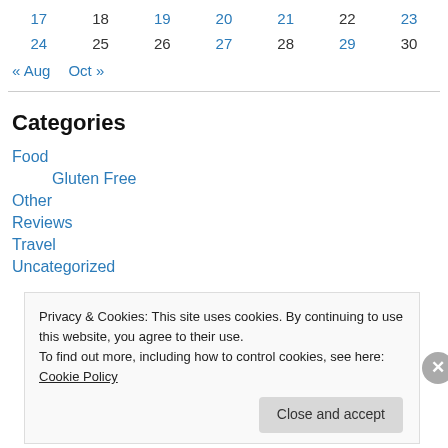| 17 | 18 | 19 | 20 | 21 | 22 | 23 |
| 24 | 25 | 26 | 27 | 28 | 29 | 30 |
« Aug   Oct »
Categories
Food
Gluten Free
Other
Reviews
Travel
Uncategorized
Privacy & Cookies: This site uses cookies. By continuing to use this website, you agree to their use. To find out more, including how to control cookies, see here: Cookie Policy
Close and accept